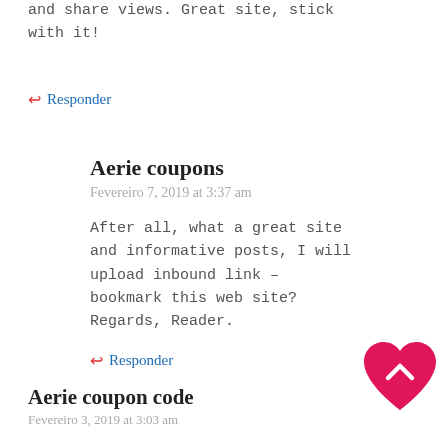and share views. Great site, stick with it!
Responder
Aerie coupons
Fevereiro 7, 2019 at 3:37 am
After all, what a great site and informative posts, I will upload inbound link – bookmark this web site? Regards, Reader.
Responder
Aerie coupon code
Fevereiro 3, 2019 at 3:03 am